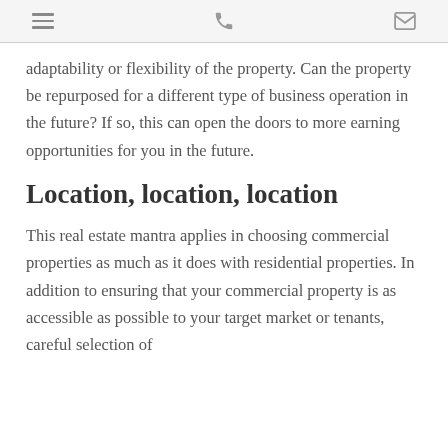[hamburger menu icon] [phone icon] [mail icon]
adaptability or flexibility of the property. Can the property be repurposed for a different type of business operation in the future? If so, this can open the doors to more earning opportunities for you in the future.
Location, location, location
This real estate mantra applies in choosing commercial properties as much as it does with residential properties. In addition to ensuring that your commercial property is as accessible as possible to your target market or tenants, careful selection of